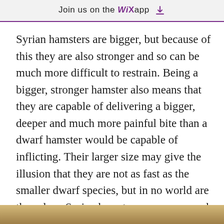Join us on the WiX app
Syrian hamsters are bigger, but because of this they are also stronger and so can be much more difficult to restrain. Being a bigger, stronger hamster also means that they are capable of delivering a bigger, deeper and much more painful bite than a dwarf hamster would be capable of inflicting. Their larger size may give the illusion that they are not as fast as the smaller dwarf species, but in no world are they slow. Syrian hamsters can move, and they can move fast.
[Figure (photo): Bottom strip showing a partial photo, likely a hamster or related animal, with tan/golden coloring visible at the bottom edge of the page.]